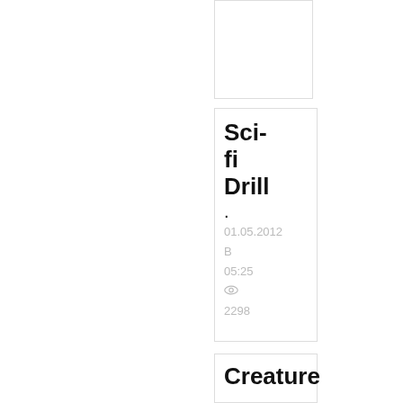Sci-fi Drill
. 01.05.2012 B 05:25 👁 2298
Creature
. 01.05.2012 B 05:23 👁 2202